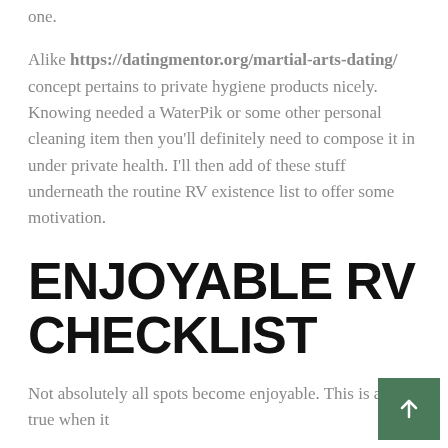one. Alike https://datingmentor.org/martial-arts-dating/ concept pertains to private hygiene products nicely. Knowing needed a WaterPik or some other personal cleaning item then you'll definitely need to compose it in under private health. I'll then add of these stuff underneath the routine RV existence list to offer some motivation.
ENJOYABLE RV CHECKLIST
Not absolutely all spots become enjoyable. This is also true when it